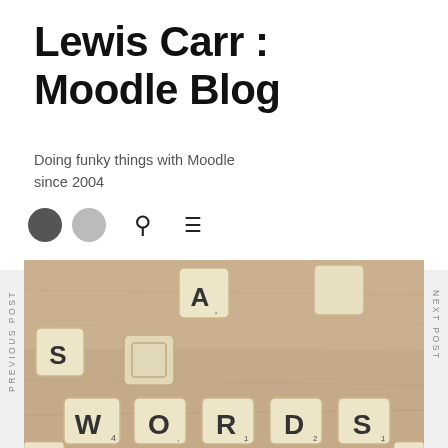Lewis Carr : Moodle Blog
Doing funky things with Moodle since 2004
[Figure (photo): Scrabble letter tiles arranged on a wooden surface spelling WORDS with an A tile above; tiles are cream/ivory colored with dark letters and point values]
PREVIOUS POST
NEXT POST